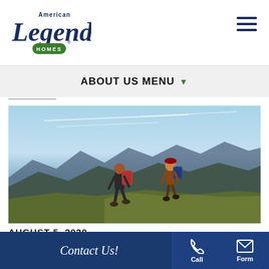[Figure (logo): American Legend Homes logo with script lettering and green HOMES badge]
[Figure (illustration): Hamburger menu icon with three horizontal lines]
ABOUT US MENU ▼
[Figure (photo): Two hikers with backpacks ascending a mountain ridge with blue sky and mountain range in background]
AUGUST 5, 2020
Contact Us! Call Form